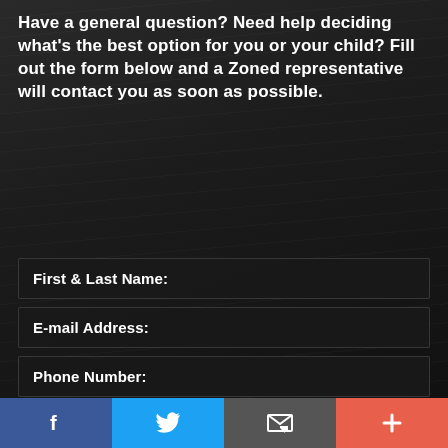Have a general question? Need help deciding what's the best option for you or your child? Fill out the form below and a Zoned representative will contact you as soon as possible.
First & Last Name:
E-mail Address:
Phone Number:
How can we help you?
[Figure (other): Social media bar at the bottom with Facebook, Twitter, Email/contact, and plus (+) buttons in blue, light blue, gray, and red-orange colors respectively]